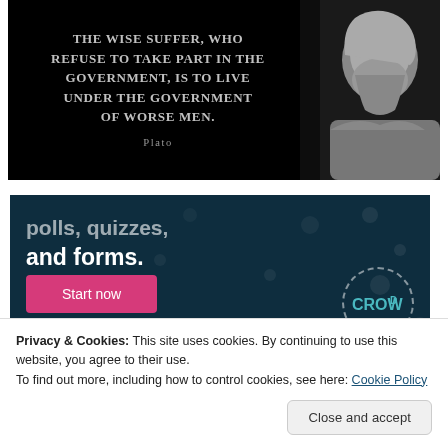[Figure (illustration): Black background motivational quote image with Plato bust statue on right side. Quote reads: 'THE WISE SUFFER, WHO REFUSE TO TAKE PART IN THE GOVERNMENT, IS TO LIVE UNDER THE GOVERNMENT OF WORSE MEN.' attributed to Plato.]
[Figure (screenshot): Dark teal/navy advertisement banner showing partial text 'polls, quizzes, and forms.' with a pink 'Start now' button and a circular Crowd Signal logo in the bottom right corner.]
Privacy & Cookies: This site uses cookies. By continuing to use this website, you agree to their use.
To find out more, including how to control cookies, see here: Cookie Policy
Close and accept